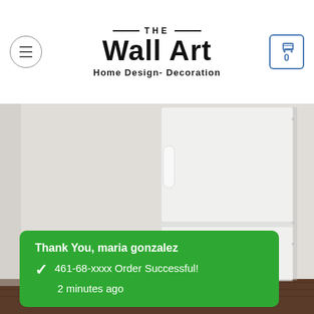THE Wall Art Home Design- Decoration
[Figure (photo): White refrigerator against a white wall with dark wood floor, minimalist product/home decor photo]
Thank You, maria gonzalez
461-68-xxxx Order Successful!
2 minutes ago